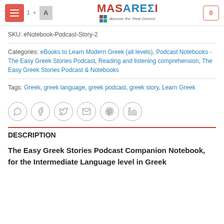[Figure (logo): MASARESI logo with tagline 'discover the Real Greece']
SKU: eNotebook-Podcast-Story-2
Categories: eBooks to Learn Modern Greek (all levels), Podcast Notebooks - The Easy Greek Stories Podcast, Reading and listening comprehension, The Easy Greek Stories Podcast & Notebooks
Tags: Greek, greek language, greek podcast, greek story, Learn Greek
[Figure (infographic): Social share icons: WhatsApp, Facebook, Twitter, Email, Pinterest, LinkedIn]
DESCRIPTION
The Easy Greek Stories Podcast Companion Notebook, for the Intermediate Language level in Greek